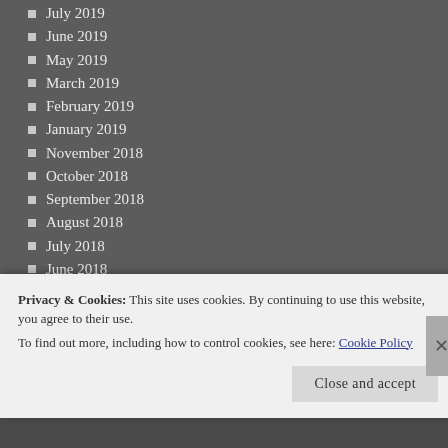July 2019
June 2019
May 2019
March 2019
February 2019
January 2019
November 2018
October 2018
September 2018
August 2018
July 2018
June 2018
May 2018
April 2018
March 2018
February 2018
January 2018
Privacy & Cookies: This site uses cookies. By continuing to use this website, you agree to their use.
To find out more, including how to control cookies, see here: Cookie Policy